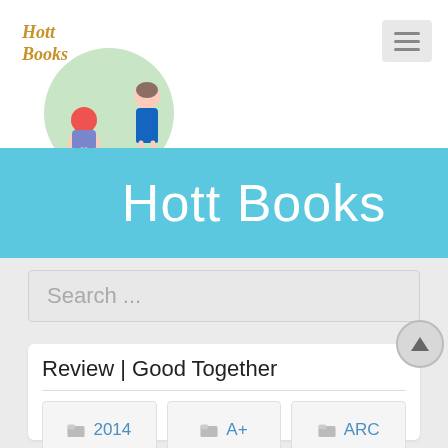[Figure (logo): Hott Books logo: circular illustration with cartoon redhead girl sitting and boy standing with soccer gear, cursive text 'Hott Books' in gold/orange]
Hott Books
Search ...
Review | Good Together
2014
A+
ARC
eBook
YA